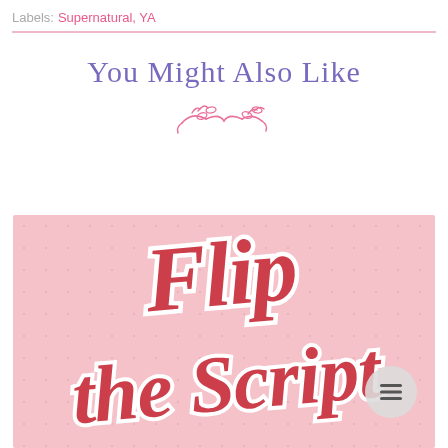Labels: Supernatural, YA
You Might Also Like
[Figure (illustration): Book cover for 'Flip the Script' with pink polka-dot background and bold red and white hand-lettered title text. A circular hamburger menu button overlays the lower right.]